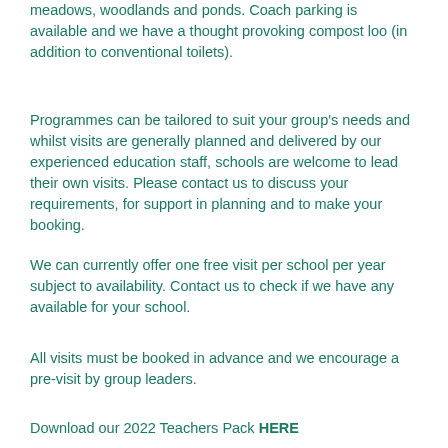meadows, woodlands and ponds. Coach parking is available and we have a thought provoking compost loo (in addition to conventional toilets).
Programmes can be tailored to suit your group's needs and whilst visits are generally planned and delivered by our experienced education staff, schools are welcome to lead their own visits. Please contact us to discuss your requirements, for support in planning and to make your booking.
We can currently offer one free visit per school per year subject to availability. Contact us to check if we have any available for your school.
All visits must be booked in advance and we encourage a pre-visit by group leaders.
Download our 2022 Teachers Pack HERE